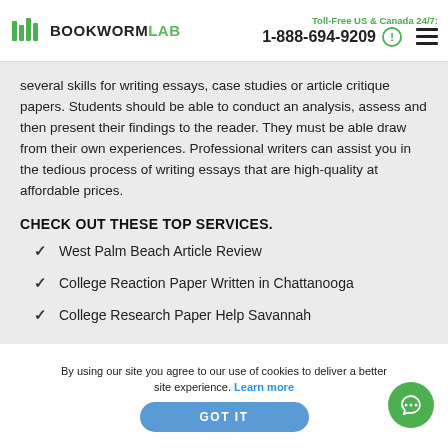BOOKWORMLAB | Toll-Free US & Canada 24/7: 1-888-694-9209
several skills for writing essays, case studies or article critique papers. Students should be able to conduct an analysis, assess and then present their findings to the reader. They must be able draw from their own experiences. Professional writers can assist you in the tedious process of writing essays that are high-quality at affordable prices.
CHECK OUT THESE TOP SERVICES.
West Palm Beach Article Review
College Reaction Paper Written in Chattanooga
College Research Paper Help Savannah
By using our site you agree to our use of cookies to deliver a better site experience. Learn more
GOT IT